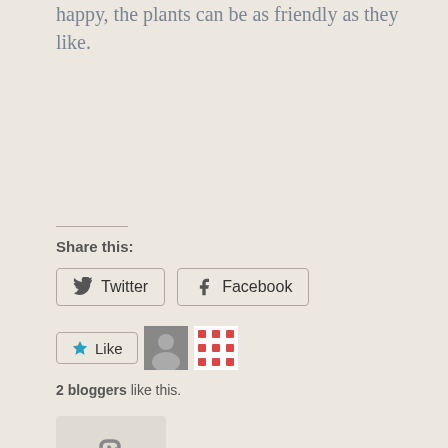happy, the plants can be as friendly as they like.
Share this:
[Figure (infographic): Twitter and Facebook share buttons]
[Figure (infographic): Like button with two blogger avatars]
2 bloggers like this.
[Figure (other): Link/reblog icon in a box]
Posted in Gardening | by te...